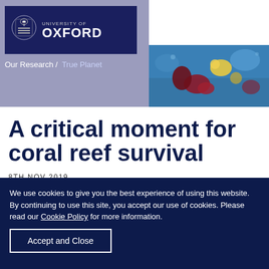[Figure (logo): University of Oxford logo with crest on dark navy background]
Our Research / True Planet
[Figure (photo): Underwater coral reef photograph with colorful corals in blue water]
[Figure (other): Donate button (navy) and hamburger menu button (white)]
A critical moment for coral reef survival
8TH NOV 2019
We use cookies to give you the best experience of using this website. By continuing to use this site, you accept our use of cookies. Please read our Cookie Policy for more information.
Accept and Close